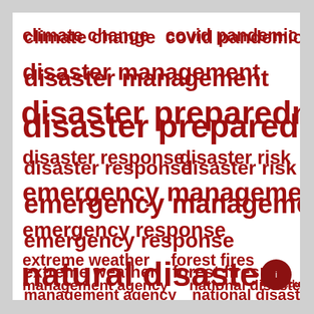[Figure (infographic): A word cloud containing disaster and emergency management related terms in red bold text on a white background. Terms include: climate change, covid pandemic, disaster management, disaster preparedness (largest), disaster response, disaster risk, emergency management, emergency response, extreme weather, forest fires, management agency, national disaster, natural disasters (very large), risk reduction (small). A dark red circular button appears in the bottom right corner.]